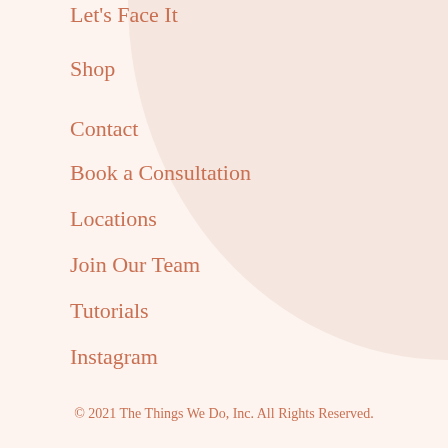Let's Face It
Shop
Contact
Book a Consultation
Locations
Join Our Team
Tutorials
Instagram
© 2021 The Things We Do, Inc. All Rights Reserved.